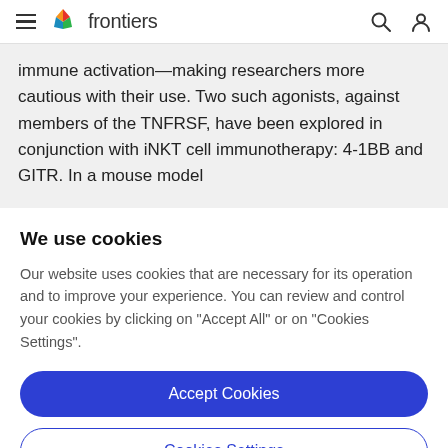frontiers
immune activation—making researchers more cautious with their use. Two such agonists, against members of the TNFRSF, have been explored in conjunction with iNKT cell immunotherapy: 4-1BB and GITR. In a mouse model
We use cookies
Our website uses cookies that are necessary for its operation and to improve your experience. You can review and control your cookies by clicking on "Accept All" or on "Cookies Settings".
Accept Cookies
Cookies Settings